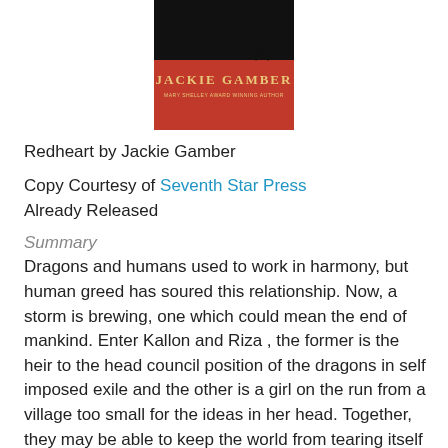[Figure (illustration): Book cover for Redheart by Jackie Gamber. Red background with black top section showing a silhouette. Gold text reads 'JACKIE GAMBER' with subtitle 'Mary Shelley Award Winning Author'.]
Redheart by Jackie Gamber
Copy Courtesy of Seventh Star Press
Already Released
Summary
Dragons and humans used to work in harmony, but human greed has soured this relationship. Now, a storm is brewing, one which could mean the end of mankind. Enter Kallon and Riza , the former is the heir to the head council position of the dragons in self imposed exile and the other is a girl on the run from a village too small for the ideas in her head. Together, they may be able to keep the world from tearing itself to pieces.
Commentary
Oh Redheart, how I wanted to like you more. You had